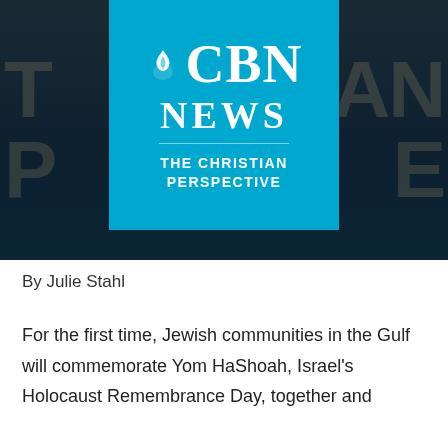[Figure (logo): CBN News logo on blue background with tagline 'THE CHRISTIAN PERSPECTIVE']
By Julie Stahl
For the first time, Jewish communities in the Gulf will commemorate Yom HaShoah, Israel's Holocaust Remembrance Day, together and